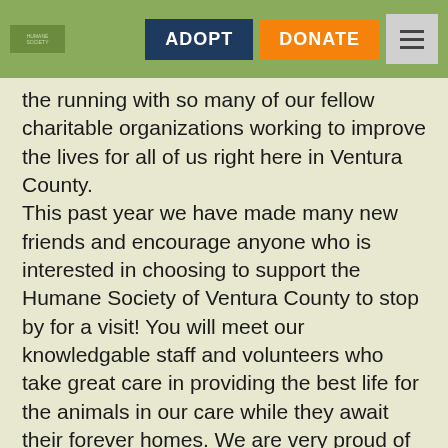ADOPT   DONATE
the running with so many of our fellow charitable organizations working to improve the lives for all of us right here in Ventura County. This past year we have made many new friends and encourage anyone who is interested in choosing to support the Humane Society of Ventura County to stop by for a visit! You will meet our knowledgable staff and volunteers who take great care in providing the best life for the animals in our care while they await their forever homes. We are very proud of our high adoption rates, as well as the success of the many other services we offer our community, many of which are free of charge.
For 87 years the HSVC has provided vital services to the community. Besides our adoption center, we also have our Low-Cost Spay and Neuter Clinic that alters not only the animals here at the shelter but for the public as well.